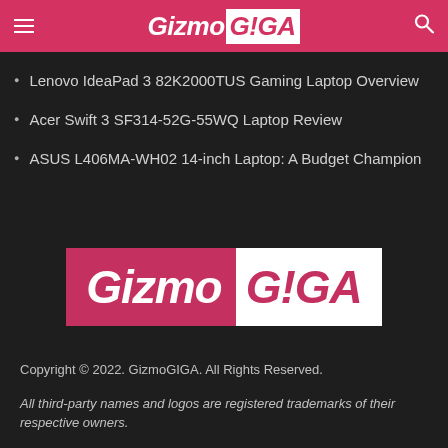Gizmo GIGA
Lenovo IdeaPad 3 82K2000TUS Gaming Laptop Overview
Acer Swift 3 SF314-52G-55WQ Laptop Review
ASUS L406MA-WH02 14-inch Laptop: A Budget Champion
[Figure (logo): GizmoGIGA logo with pink left half and white right half]
Copyright © 2022. GizmoGIGA. All Rights Reserved.
All third-party names and logos are registered trademarks of their respective owners.